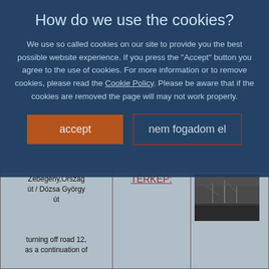How do we use the cookies?
We use so called cookies on our site to provide you the best possible website experience. If you press the "Accept" button you agree to the use of cookies. For more information or to remove cookies, please read the Cookie Policy. Please be aware that if the cookies are removed the page will may not work properly.
accept
nem fogadom el
| Zebegény,Ország út / Dózsa György út

turning off road 12, as a continuation of | TÉRKÉP: | (photo) |